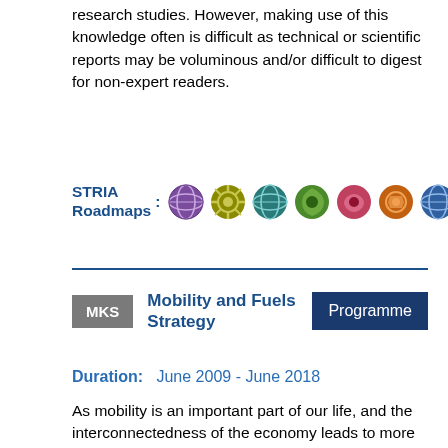research studies. However, making use of this knowledge often is difficult as technical or scientific reports may be voluminous and/or difficult to digest for non-expert readers.
[Figure (illustration): STRIA Roadmaps label followed by seven colourful circular icons representing different transport/technology themes]
MKS   Mobility and Fuels Strategy   Programme
Duration:   June 2009 - June 2018
As mobility is an important part of our life, and the interconnectedness of the economy leads to more and more transport, we expect to see significant growth in freight as well as in passenger transport in the future. Forecasts predict that the global vehicle population – currently about 1.2 billion